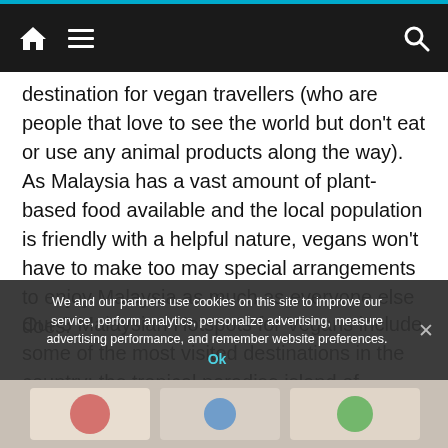Navigation bar with home icon, menu icon, and search icon
destination for vegan travellers (who are people that love to see the world but don't eat or use any animal products along the way).  As Malaysia has a vast amount of plant-based food available and the local population is friendly with a helpful nature, vegans won't have to make too may special arrangements to enjoy Malaysia as much as everyone else does.
Our 3 Malaysian Hotspots for Vegans include some of the most visited destinations in the country; the tropical paradise island of Langkawi, the UNESCO World Heritage Site of Georgetown and the famous beach resort of Batu Ferringhi. Here's the lowdown on how to get the most out of your visit to these great luxury destinations if you are a vegan.
We and our partners use cookies on this site to improve our service, perform analytics, personalize advertising, measure advertising performance, and remember website preferences.
[Figure (screenshot): Advertisement banner at the bottom of the page]